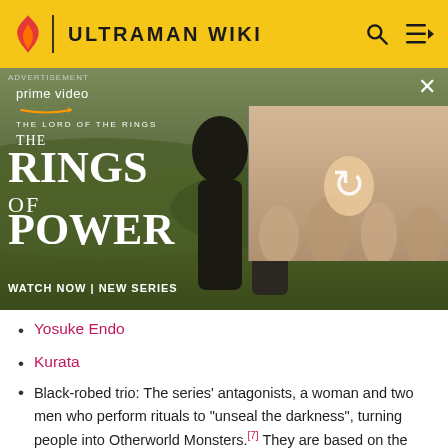ULTRAMAN WIKI
[Figure (screenshot): Advertisement for Amazon Prime Video's 'The Lord of the Rings: The Rings of Power' series. Shows two characters in a field with text 'WATCH NOW | NEW SERIES'. A second overlapping image with a refresh icon is partially visible on the right side.]
Yosuke Endo
Kurata
Black-robed trio: The series' antagonists, a woman and two men who perform rituals to "unseal the darkness", turning people into Otherworld Monsters.[7] They are based on the Giants of Darkness from Ultraman Tiga: The Final Odyssey.
Hudra: One of the black-robed trio. Based on Hudra. Gains an Ultraman Suit after summoning a